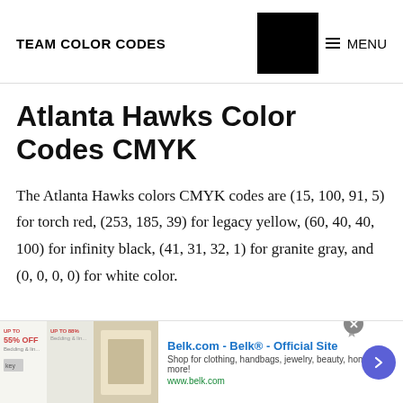TEAM COLOR CODES
Atlanta Hawks Color Codes CMYK
The Atlanta Hawks colors CMYK codes are (15, 100, 91, 5) for torch red, (253, 185, 39) for legacy yellow, (60, 40, 40, 100) for infinity black, (41, 31, 32, 1) for granite gray, and (0, 0, 0, 0) for white color.
[Figure (screenshot): Advertisement banner for Belk.com - Belk® Official Site with text 'Shop for clothing, handbags, jewelry, beauty, home & more!' and URL www.belk.com]